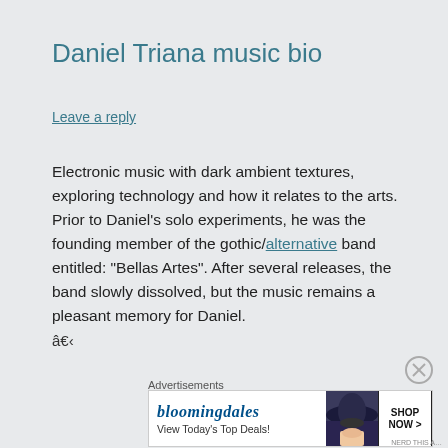Daniel Triana music bio
Leave a reply
Electronic music with dark ambient textures, exploring technology and how it relates to the arts. Prior to Daniel's solo experiments, he was the founding member of the gothic/alternative band entitled: “Bellas Artes”. After several releases, the band slowly dissolved, but the music remains a pleasant memory for Daniel.
â€¹
Advertisements
[Figure (other): Bloomingdale's advertisement banner showing logo, 'View Today's Top Deals!', woman with wide-brim hat, and 'SHOP NOW >' button]